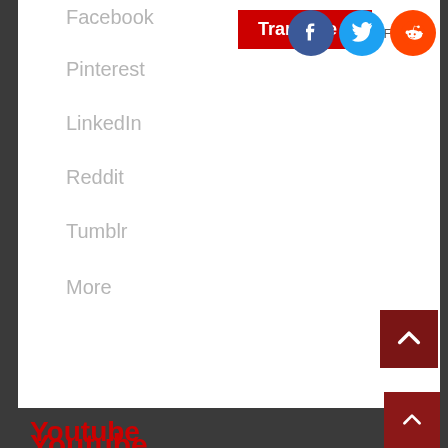Facebook
Pinterest
LinkedIn
Reddit
Tumblr
More
Translate »
Follow
Youtube
Facebook
Pinterest
NewsCard
NewsCard is a Multi-Purpose Magazine/News WordPress